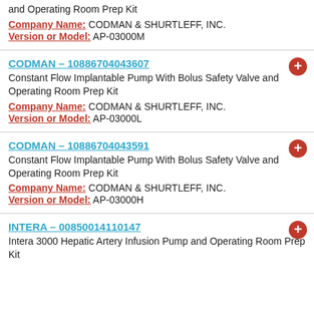and Operating Room Prep Kit
Company Name: CODMAN & SHURTLEFF, INC.
Version or Model: AP-03000M
CODMAN – 10886704043607
Constant Flow Implantable Pump With Bolus Safety Valve and Operating Room Prep Kit
Company Name: CODMAN & SHURTLEFF, INC.
Version or Model: AP-03000L
CODMAN – 10886704043591
Constant Flow Implantable Pump With Bolus Safety Valve and Operating Room Prep Kit
Company Name: CODMAN & SHURTLEFF, INC.
Version or Model: AP-03000H
INTERA – 00850014110147
Intera 3000 Hepatic Artery Infusion Pump and Operating Room Prep Kit